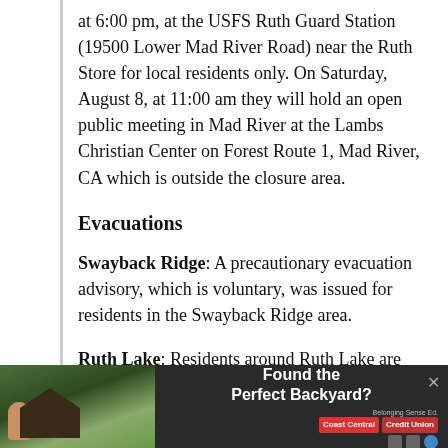at 6:00 pm, at the USFS Ruth Guard Station (19500 Lower Mad River Road) near the Ruth Store for local residents only. On Saturday, August 8, at 11:00 am they will hold an open public meeting in Mad River at the Lambs Christian Center on Forest Route 1, Mad River, CA which is outside the closure area.
Evacuations
Swayback Ridge: A precautionary evacuation advisory, which is voluntary, was issued for residents in the Swayback Ridge area.
Ruth Lake: Residents around Ruth Lake are under a mandatory evacuation. The evacuation includes Lower Mad River Road (County Road 581) f…
[Figure (photo): Advertisement banner: photo of child in backyard treehouse on left, text 'Found the Perfect Backyard?' in white on dark background, Coast Central Credit Union logo on right with close button.]